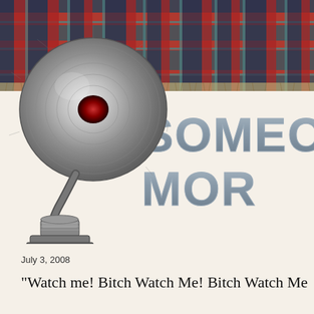[Figure (illustration): Plaid/tartan fabric banner background in red, navy, tan, and teal colors across the top of the page]
[Figure (illustration): Vintage gramophone/phonograph horn speaker illustration in black and white/grayscale, positioned on the left side overlapping the banner]
SOMEO MOR
July 3, 2008
"Watch me! Bitch Watch Me! Bitch Watch Me